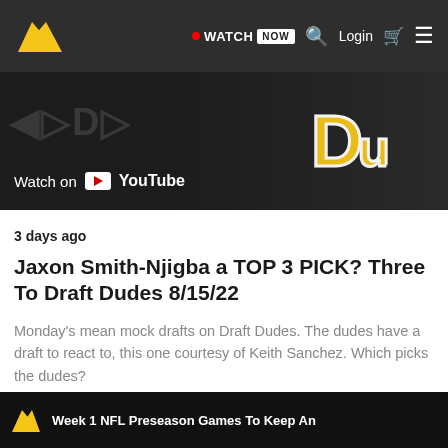Draft Dudes — WATCH NOW | Login
[Figure (screenshot): YouTube video thumbnail with 'Watch on YouTube' badge and gold Draft Dudes logo on dark background]
3 days ago
Jaxon Smith-Njigba a TOP 3 PICK? Three To Draft Dudes 8/15/22
Monday's mean mock drafts on Draft Dudes. The dudes have a draft to react to, this one courtesy of Keith Sanchez. Which picks the dudes?
[Figure (screenshot): Bottom video thumbnail strip with Draft Dudes logo and 'Week 1 NFL Preseason Games To Keep An...' label]